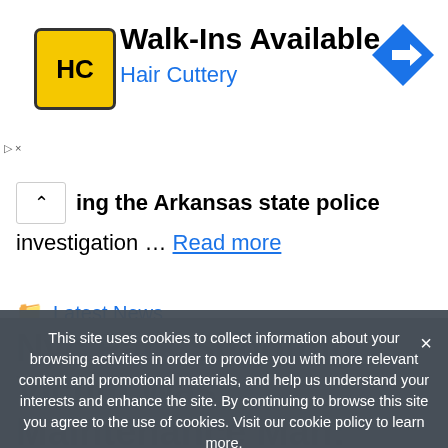[Figure (other): Hair Cuttery advertisement banner with logo, 'Walk-Ins Available' headline, and navigation arrow icon]
ing the Arkansas state police investigation … Read more
Latest News
Associated Press, Nation/World, news
Leave a comment
This site uses cookies to collect information about your browsing activities in order to provide you with more relevant content and promotional materials, and help us understand your interests and enhance the site. By continuing to browse this site you agree to the use of cookies. Visit our cookie policy to learn more.
Nyc Park Shooting Victim Was Maintenance Man: